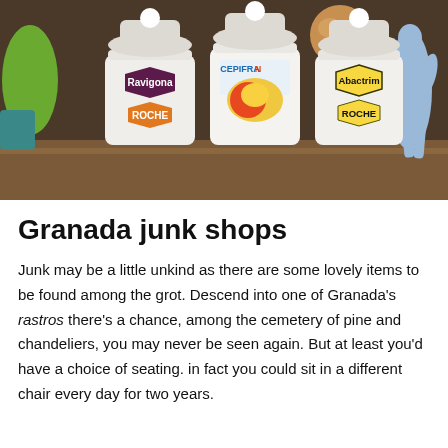[Figure (photo): Three white ceramic apothecary jars with lids on a wooden shelf. The left jar has a dark red/maroon hexagonal label reading 'Ravigona' and an orange hexagonal label reading 'ROCHE'. The middle jar has a blue label reading 'CEPIFRAN' with a colorful circular graphic. The right jar has a yellow hexagonal label reading 'Abactrim' and a yellow hexagonal label reading 'ROCHE'. To the right is a light blue ceramic figurine of a human form. Various other decorative objects are visible in the background.]
Granada junk shops
Junk may be a little unkind as there are some lovely items to be found among the grot. Descend into one of Granada's rastros there's a chance, among the cemetery of pine and chandeliers, you may never be seen again. But at least you'd have a choice of seating. in fact you could sit in a different chair every day for two years.